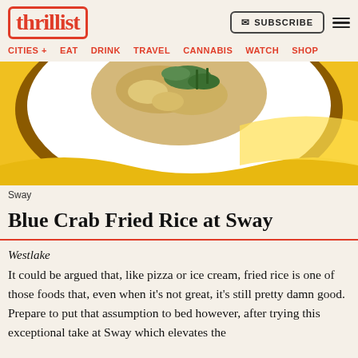thrillist
CITIES + EAT DRINK TRAVEL CANNABIS WATCH SHOP
[Figure (photo): Top-down photo of a white plate with blue crab fried rice garnished with herbs, on a golden-yellow background]
Sway
Blue Crab Fried Rice at Sway
Westlake
It could be argued that, like pizza or ice cream, fried rice is one of those foods that, even when it's not great, it's still pretty damn good. Prepare to put that assumption to bed however, after trying this exceptional take at Sway which elevates the